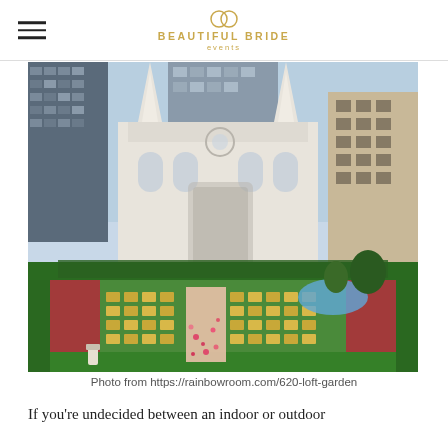BEAUTIFUL BRIDE events
[Figure (photo): Rooftop garden wedding ceremony setup with rows of gold chiavari chairs and a petal-strewn aisle, overlooking St. Patrick's Cathedral and Manhattan skyscrapers.]
Photo from https://rainbowroom.com/620-loft-garden
If you're undecided between an indoor or outdoor